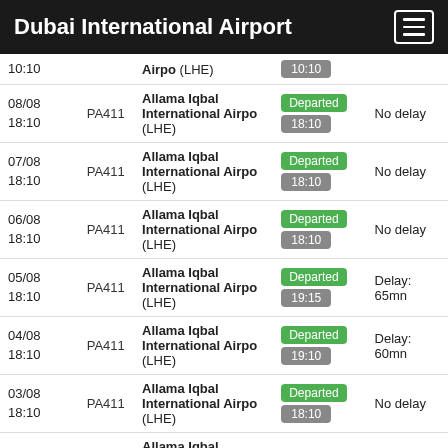Dubai International Airport
| Date/Time | Flight | Destination | Status | Delay |
| --- | --- | --- | --- | --- |
| 18:10 |  | Airpo (LHE) | 18:10 |  |
| 08/08 18:10 | PA411 | Allama Iqbal International Airpo (LHE) | Departed 18:10 | No delay |
| 07/08 18:10 | PA411 | Allama Iqbal International Airpo (LHE) | Departed 18:10 | No delay |
| 06/08 18:10 | PA411 | Allama Iqbal International Airpo (LHE) | Departed 18:10 | No delay |
| 05/08 18:10 | PA411 | Allama Iqbal International Airpo (LHE) | Departed 19:15 | Delay: 65mn |
| 04/08 18:10 | PA411 | Allama Iqbal International Airpo (LHE) | Departed 19:10 | Delay: 60mn |
| 03/08 18:10 | PA411 | Allama Iqbal International Airpo (LHE) | Departed 18:10 | No delay |
|  |  | Allama Iqbal |  |  |